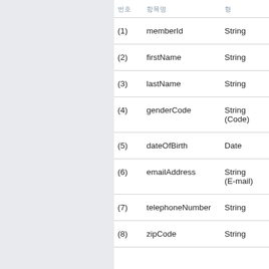| 번호 | 항목명 | 형 |
| --- | --- | --- |
| (1) | memberId | String |
| (2) | firstName | String |
| (3) | lastName | String |
| (4) | genderCode | String
(Code) |
| (5) | dateOfBirth | Date |
| (6) | emailAddress | String
(E-mail) |
| (7) | telephoneNumber | String |
| (8) | zipCode | String |